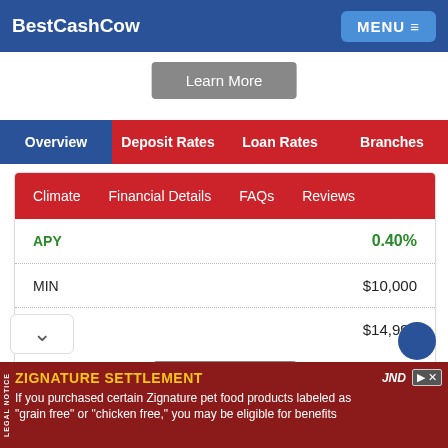BestCashCow  MENU
Learn More
Overview  Deposit Rates  Loan Rates  Branches
Climate  Financial Details  FAQs  Reviews
|  |  |
| --- | --- |
| APY | 0.40% |
| MIN | $10,000 |
| MAX | $14,999 |
Learn More
Reviews
ZIGNATURE SETTLEMENT  If you purchased certain Zignature pet food products labeled as "grain free" or "chicken free," you may be eligible for benefits